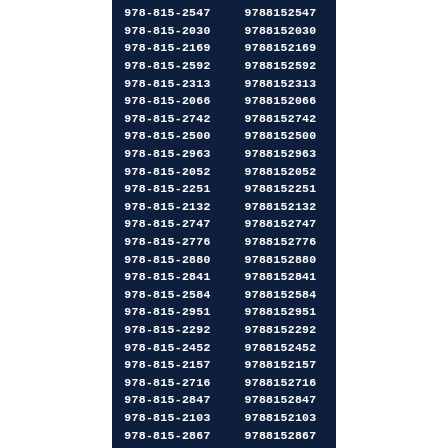| Formatted | Unformatted |
| --- | --- |
| 978-815-2547 | 9788152547 |
| 978-815-2030 | 9788152030 |
| 978-815-2169 | 9788152169 |
| 978-815-2592 | 9788152592 |
| 978-815-2313 | 9788152313 |
| 978-815-2066 | 9788152066 |
| 978-815-2742 | 9788152742 |
| 978-815-2500 | 9788152500 |
| 978-815-2963 | 9788152963 |
| 978-815-2052 | 9788152052 |
| 978-815-2251 | 9788152251 |
| 978-815-2132 | 9788152132 |
| 978-815-2747 | 9788152747 |
| 978-815-2776 | 9788152776 |
| 978-815-2880 | 9788152880 |
| 978-815-2841 | 9788152841 |
| 978-815-2584 | 9788152584 |
| 978-815-2951 | 9788152951 |
| 978-815-2292 | 9788152292 |
| 978-815-2452 | 9788152452 |
| 978-815-2157 | 9788152157 |
| 978-815-2716 | 9788152716 |
| 978-815-2847 | 9788152847 |
| 978-815-2103 | 9788152103 |
| 978-815-2867 | 9788152867 |